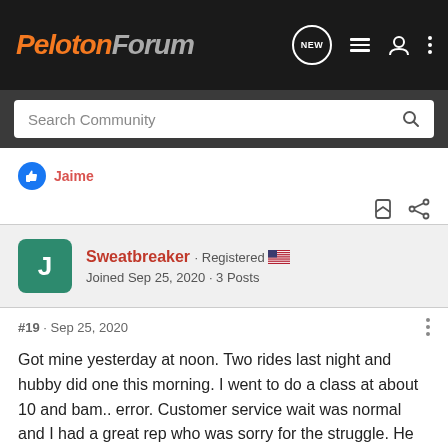PELOTON FORUM
Search Community
Jaime
Sweatbreaker · Registered
Joined Sep 25, 2020 · 3 Posts
#19 · Sep 25, 2020
Got mine yesterday at noon. Two rides last night and hubby did one this morning. I went to do a class at about 10 and bam.. error. Customer service wait was normal and I had a great rep who was sorry for the struggle. He walked me through a few things and nada. He had me report a bug report and said wait 24 hours and see if there is a bug fix because there was some